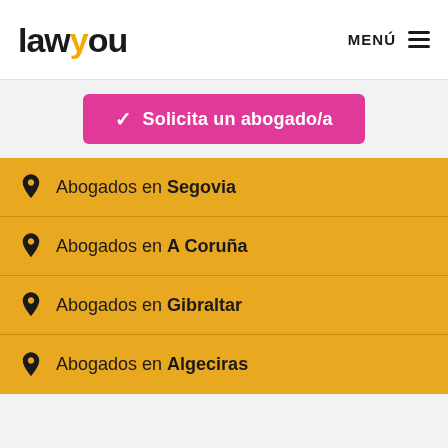lawyou — MENÚ
Solicita un abogado/a
Abogados en Segovia
Abogados en A Coruña
Abogados en Gibraltar
Abogados en Algeciras